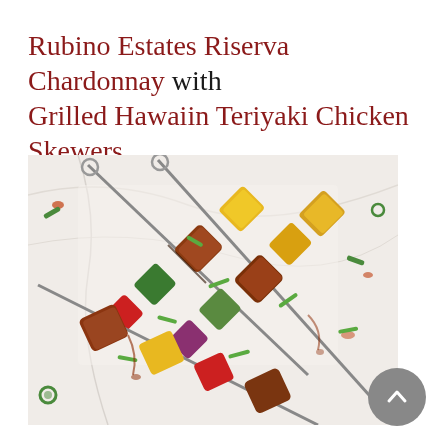Rubino Estates Riserva Chardonnay with Grilled Hawaiin Teriyaki Chicken Skewers
[Figure (photo): Close-up photo of Hawaiian teriyaki chicken skewers on a marble board, featuring grilled chicken pieces, pineapple chunks, red and green bell peppers, zucchini, and red onions on metal skewers, garnished with sliced green onions and teriyaki glaze drizzles]